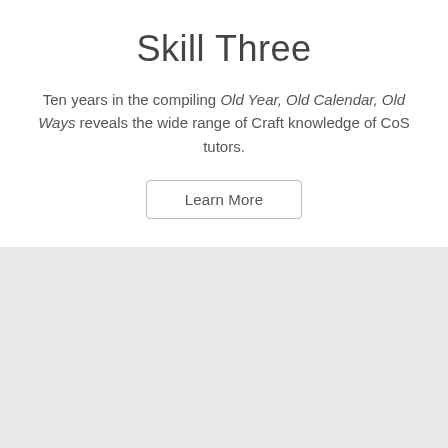Skill Three
Ten years in the compiling Old Year, Old Calendar, Old Ways reveals the wide range of Craft knowledge of CoS tutors.
[Figure (other): Learn More button]
[Figure (other): Gray empty section]
Site powered by Weebly. Managed by Letshost.ie
Version: Mobile | Web